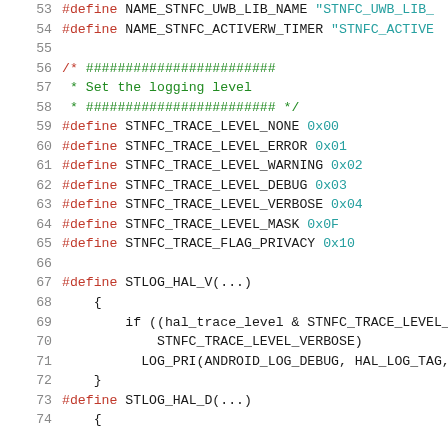[Figure (screenshot): Source code listing in C showing preprocessor #define macros and logging macros for an NFC (Near Field Communication) HAL (Hardware Abstraction Layer) library. Lines 53-73 visible, showing define statements for library names, logging levels (NONE, ERROR, WARNING, DEBUG, VERBOSE, MASK, FLAG_PRIVACY), and logging macro definitions (STLOG_HAL_V, STLOG_HAL_D).]